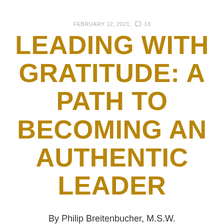FEBRUARY 12, 2021, ☐18
LEADING WITH GRATITUDE: A PATH TO BECOMING AN AUTHENTIC LEADER
By Philip Breitenbucher, M.S.W.